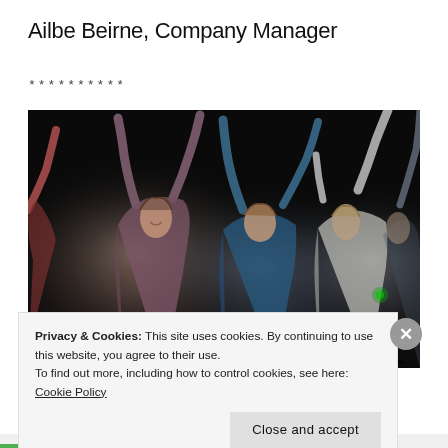Ailbe Beirne, Company Manager
**********
[Figure (photo): Four dancers on a dark stage with arms raised upward, wearing colorful tops (mauve/purple, blue, white/cream). Stage lighting illuminates the performers from the front against a black background.]
Privacy & Cookies: This site uses cookies. By continuing to use this website, you agree to their use.
To find out more, including how to control cookies, see here: Cookie Policy
Close and accept